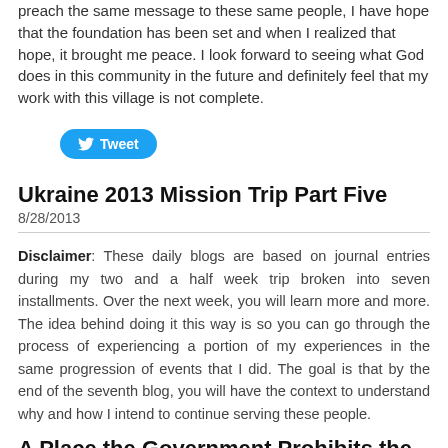preach the same message to these same people, I have hope that the foundation has been set and when I realized that hope, it brought me peace. I look forward to seeing what God does in this community in the future and definitely feel that my work with this village is not complete.
Tweet
Ukraine 2013 Mission Trip Part Five
8/28/2013
Disclaimer: These daily blogs are based on journal entries during my two and a half week trip broken into seven installments. Over the next week, you will learn more and more. The idea behind doing it this way is so you can go through the process of experiencing a portion of my experiences in the same progression of events that I did. The goal is that by the end of the seventh blog, you will have the context to understand why and how I intend to continue serving these people.
A Place the Government Prohibits the Gospel: Day 7 -- August 10, 2013